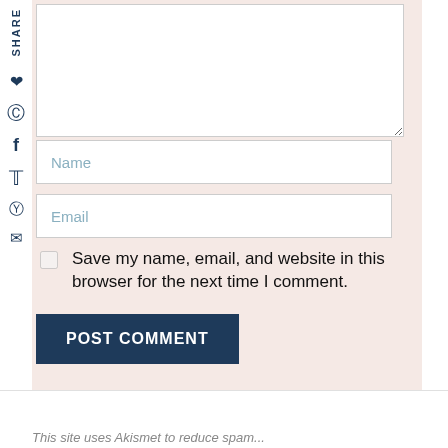SHARE
[Figure (other): Social share sidebar with Pinterest, Facebook, Twitter, Houzz, and email icons]
[Figure (screenshot): Comment form textarea (empty)]
Name
Email
Save my name, email, and website in this browser for the next time I comment.
POST COMMENT
This site uses Akismet to reduce spam...